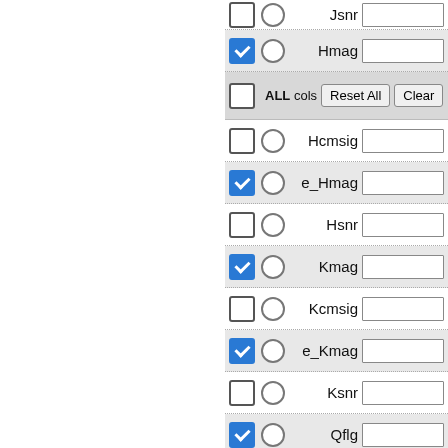| Checkbox | Radio | Field | Value |
| --- | --- | --- | --- |
| unchecked | unchecked | Jsnr |  |
| checked | unchecked | Hmag |  |
| unchecked | Reset All / Clear | ALL cols |  |
| unchecked | unchecked | Hcmsig |  |
| checked | unchecked | e_Hmag |  |
| unchecked | unchecked | Hsnr |  |
| checked | unchecked | Kmag |  |
| unchecked | unchecked | Kcmsig |  |
| checked | unchecked | e_Kmag |  |
| unchecked | unchecked | Ksnr |  |
| checked | unchecked | Qflg |  |
| checked | unchecked | Rflg |  |
| checked | unchecked | Rfl |  |